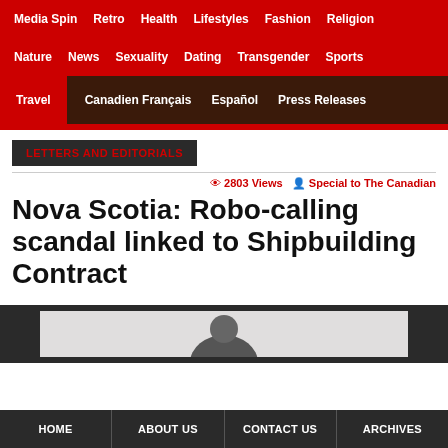Media Spin  Retro  Health  Lifestyles  Fashion  Religion
Nature  News  Sexuality  Dating  Transgender  Sports
Travel  Canadien Français  Español  Press Releases
LETTERS AND EDITORIALS
2803 Views  Special to The Canadian
Nova Scotia: Robo-calling scandal linked to Shipbuilding Contract
[Figure (photo): Dark background with partially visible image of a person]
HOME  ABOUT US  CONTACT US  ARCHIVES